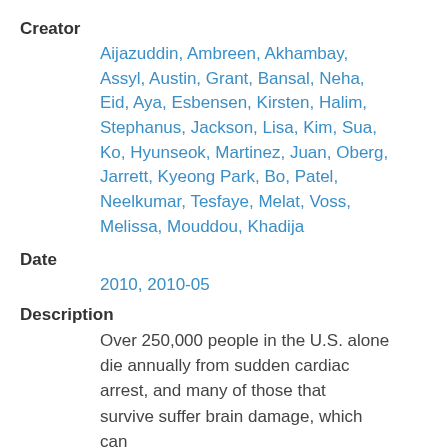Creator
Aijazuddin, Ambreen, Akhambay, Assyl, Austin, Grant, Bansal, Neha, Eid, Aya, Esbensen, Kirsten, Halim, Stephanus, Jackson, Lisa, Kim, Sua, Ko, Hyunseok, Martinez, Juan, Oberg, Jarrett, Kyeong Park, Bo, Patel, Neelkumar, Tesfaye, Melat, Voss, Melissa, Mouddou, Khadija
Date
2010, 2010-05
Description
Over 250,000 people in the U.S. alone die annually from sudden cardiac arrest, and many of those that survive suffer brain damage, which can